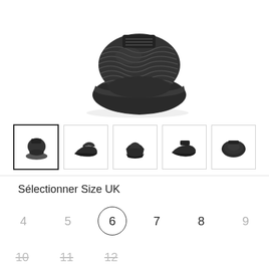[Figure (photo): Top-down view of a dark grey/black knit sneaker with subtle pattern, shown from above against white background]
[Figure (photo): Row of 5 shoe thumbnail images showing different angles: front/top view (selected), side profile, front face, side angle, top-down view]
Sélectionner Size UK
Size selector with options: 4 (unavailable), 5 (unavailable), 6 (selected), 7, 8, 9 (unavailable), 10 (unavailable, strikethrough), 11 (unavailable, strikethrough), 12 (unavailable, strikethrough)